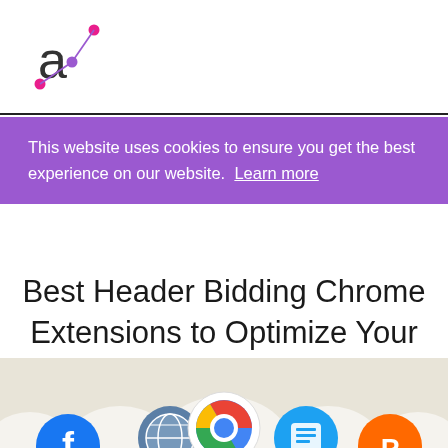[Figure (logo): Automattic or similar 'a' logo with pink dot and purple dot connected by a line]
This website uses cookies to ensure you get the best experience on our website. Learn more
Best Header Bidding Chrome Extensions to Optimize Your Setup
[Figure (illustration): Bottom banner with beige/tan background showing circular app icons including Facebook, a globe/world icon, Chrome browser, and a blue square icon, partially visible at the bottom of the page]